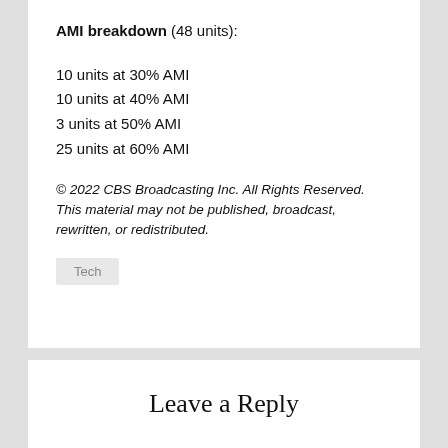AMI breakdown (48 units):
10 units at 30% AMI
10 units at 40% AMI
3 units at 50% AMI
25 units at 60% AMI
© 2022 CBS Broadcasting Inc. All Rights Reserved. This material may not be published, broadcast, rewritten, or redistributed.
Tech
Leave a Reply